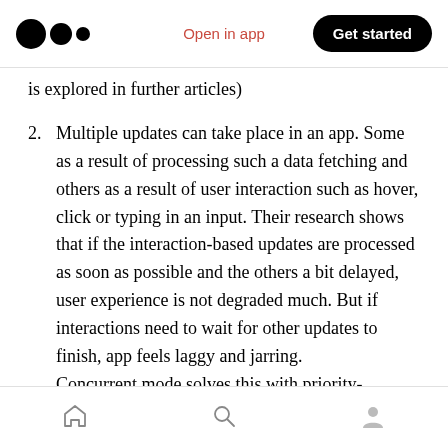Medium logo | Open in app | Get started
is explored in further articles)
2. Multiple updates can take place in an app. Some as a result of processing such a data fetching and others as a result of user interaction such as hover, click or typing in an input. Their research shows that if the interaction-based updates are processed as soon as possible and the others a bit delayed, user experience is not degraded much. But if interactions need to wait for other updates to finish, app feels laggy and jarring.
Concurrent mode solves this with priority-
Home | Search | Profile